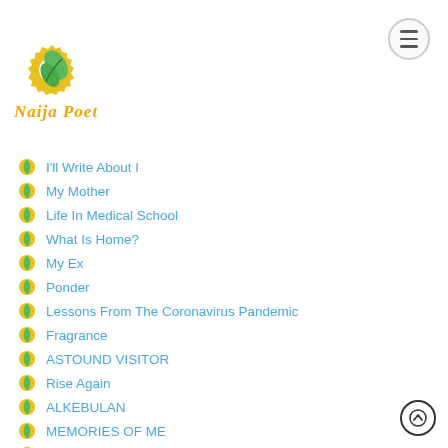[Figure (logo): Naija Poetry logo: gear with green leaf motif and italic orange text 'Naija Poetry']
I'll Write About I
My Mother
Life In Medical School
What Is Home?
My Ex
Ponder
Lessons From The Coronavirus Pandemic
Fragrance
ASTOUND VISITOR
Rise Again
ALKEBULAN
MEMORIES OF ME
COVID19
RONA
Unspoken Words
Mr President
Fallen
BEAUTY OF LOVE